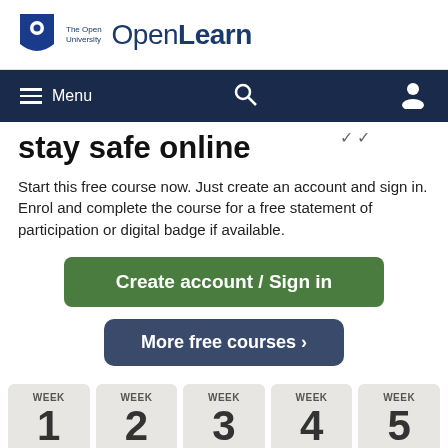[Figure (logo): The Open University shield logo and OpenLearn wordmark]
Menu | Search | User icon navigation bar
stay safe online
Start this free course now. Just create an account and sign in. Enrol and complete the course for a free statement of participation or digital badge if available.
Create account / Sign in
More free courses >
WEEK 1  WEEK 2  WEEK 3  WEEK 4  WEEK 5